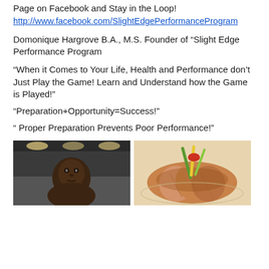Page on Facebook and Stay in the Loop!
http://www.facebook.com/SlightEdgePerformanceProgram
Domonique Hargrove B.A., M.S. Founder of “Slight Edge Performance Program
“When it Comes to Your Life, Health and Performance don’t Just Play the Game! Learn and Understand how the Game is Played!”
“Preparation+Opportunity=Success!”
“ Proper Preparation Prevents Poor Performance!”
[Figure (photo): Photo of a man (Domonique Hargrove) indoors, appears to be in a gymnasium or sports facility with overhead lights visible in the background.]
[Figure (photo): Photo of sliced roasted meat (turkey or chicken) garnished with colorful vegetable sticks (green and yellow/red), served on a plate.]